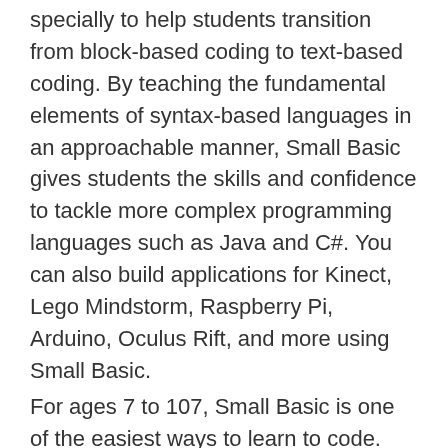specially to help students transition from block-based coding to text-based coding. By teaching the fundamental elements of syntax-based languages in an approachable manner, Small Basic gives students the skills and confidence to tackle more complex programming languages such as Java and C#. You can also build applications for Kinect, Lego Mindstorm, Raspberry Pi, Arduino, Oculus Rift, and more using Small Basic.
For ages 7 to 107, Small Basic is one of the easiest ways to learn to code.
—
Level 1 Tutorial – https://mega.nz/file/ztNCXJJI#pDv-Uo8JK6DYHooJMDi9_bTGbFryXZov2pE6D-Nt7lA
—